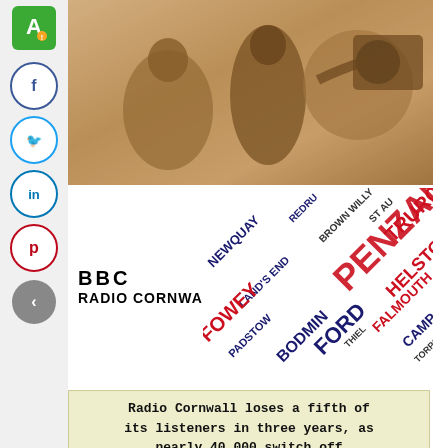[Figure (photo): Vintage sepia-toned photograph of people listening to an old radio set, early 20th century style]
[Figure (logo): BBC Radio Cornwall logo with word cloud graphic featuring Cornwall place names including Penzance, Newquay, Fowey, Falmouth, Helston, Bodmin, etc. in red, dark blue and black typography forming an X pattern]
Radio Cornwall loses a fifth of its listeners in three years, as nearly 40,000 switch off